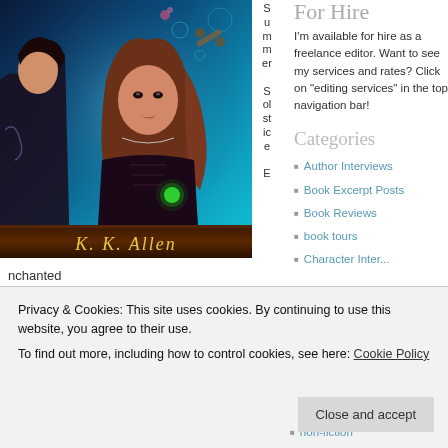[Figure (illustration): Book cover for 'Summer Solstice Enchanted' by K.K. Allen — two women against a blue/teal magical background with mystical objects, author name in gold italic script at bottom]
Summer Solstice E
nchanted
For Hire
I'm available for hire as a freelance editor. Want to see my services and rates? Click on "editing services" in the top navigation bar!
Categories
Author Interviews
Book Excerpt Posts
Book Reviews
book tours
Character Inter...
Privacy & Cookies: This site uses cookies. By continuing to use this website, you agree to their use.
To find out more, including how to control cookies, see here: Cookie Policy
non-fiction
Close and accept